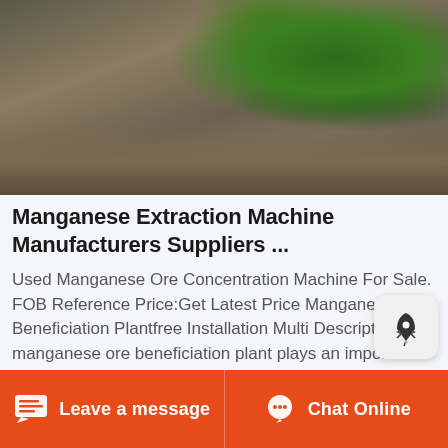[Figure (photo): Heavy green mining/crushing machine on terrain with gravel mounds]
Manganese Extraction Machine Manufacturers Suppliers ...
Used Manganese Ore Concentration Machine For Sale. FOB Reference Price:Get Latest Price Manganese Ore Beneficiation Plantfree Installation Multi Description manganese ore beneficiation plant plays an important role in enriching mn and ftm has many mining equipment used for manganese ore concentration for sale get a quote email contact Manganese Ore
Leave a message  |  Chat Online